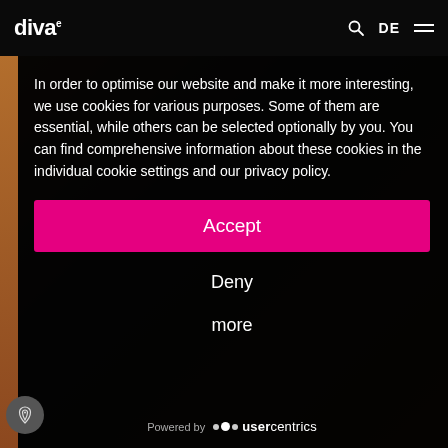diva-e  DE
In order to optimise our website and make it more interesting, we use cookies for various purposes. Some of them are essential, while others can be selected optionally by you. You can find comprehensive information about these cookies in the individual cookie settings and our privacy policy.
Accept
Deny
more
Powered by usercentrics